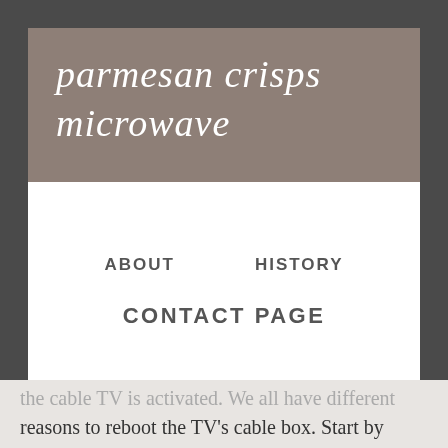parmesan crisps microwave
ABOUT
HISTORY
CONTACT PAGE
the cable TV is activated. We all have different reasons to reboot the TV's cable box. Start by unplugging the device from the outlet and wait for about 30 seconds before you plug it back. Use your preferred browser and type